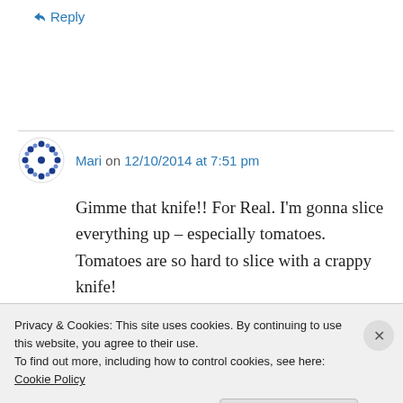↪ Reply
Mari on 12/10/2014 at 7:51 pm
Gimme that knife!! For Real. I'm gonna slice everything up – especially tomatoes. Tomatoes are so hard to slice with a crappy knife!
★ Liked by 1 person
Privacy & Cookies: This site uses cookies. By continuing to use this website, you agree to their use.
To find out more, including how to control cookies, see here: Cookie Policy
Close and accept